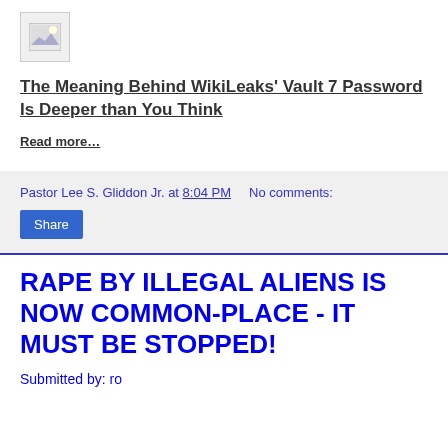[Figure (illustration): Small thumbnail image icon with landscape/image placeholder]
The Meaning Behind WikiLeaks' Vault 7 Password Is Deeper than You Think
Read more…
Pastor Lee S. Gliddon Jr. at 8:04 PM    No comments:
Share
RAPE BY ILLEGAL ALIENS IS NOW COMMON-PLACE - IT MUST BE STOPPED!
Submitted by: ro